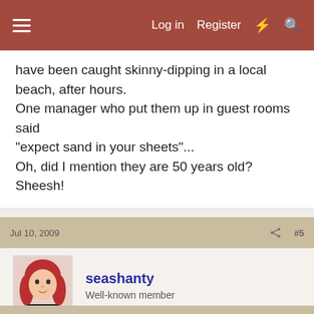Log in  Register
have been caught skinny-dipping in a local beach, after hours.
One manager who put them up in guest rooms said "expect sand in your sheets"...
Oh, did I mention they are 50 years old?
Sheesh!
Jul 10, 2009  #5
seashanty
Well-known member
sound like my kind of people ... what's wrong with folks in their 50's skinny dipping? 😉 sorry redbirds, couldn't resist.
Jul 10, 2009  #6
The Farmers Daughter